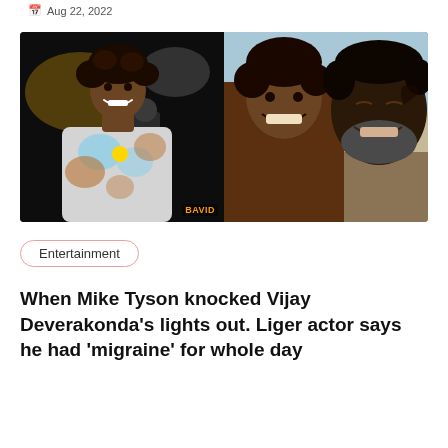Aug 22, 2022
[Figure (photo): Split image: left side shows Vijay Deverakonda smiling, wearing a colorful tie-dye sweatshirt in a dark setting; right side shows Vijay Deverakonda and Mike Tyson smiling together, Mike Tyson with face tattoo and grey beard. Watermark 'BAVID' visible on left photo.]
Entertainment
When Mike Tyson knocked Vijay Deverakonda's lights out. Liger actor says he had 'migraine' for whole day